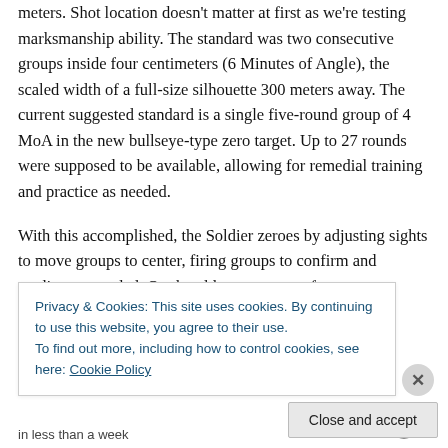meters. Shot location doesn't matter at first as we're testing marksmanship ability. The standard was two consecutive groups inside four centimeters (6 Minutes of Angle), the scaled width of a full-size silhouette 300 meters away. The current suggested standard is a single five-round group of 4 MoA in the new bullseye-type zero target. Up to 27 rounds were supposed to be available, allowing for remedial training and practice as needed.
With this accomplished, the Soldier zeroes by adjusting sights to move groups to center, firing groups to confirm and readjust as needed. On the old zero target, a four...
Privacy & Cookies: This site uses cookies. By continuing to use this website, you agree to their use.
To find out more, including how to control cookies, see here: Cookie Policy
in less than a week